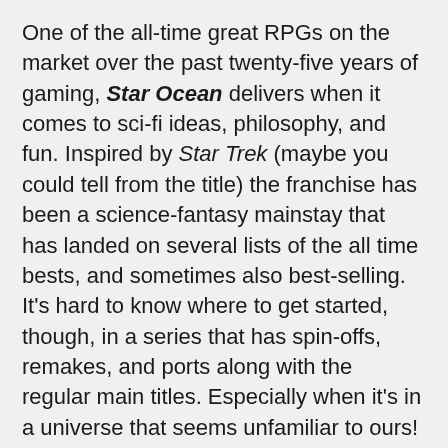One of the all-time great RPGs on the market over the past twenty-five years of gaming, Star Ocean delivers when it comes to sci-fi ideas, philosophy, and fun. Inspired by Star Trek (maybe you could tell from the title) the franchise has been a science-fantasy mainstay that has landed on several lists of the all time bests, and sometimes also best-selling.
It's hard to know where to get started, though, in a series that has spin-offs, remakes, and ports along with the regular main titles. Especially when it's in a universe that seems unfamiliar to ours! So let's take a look at the history and development of Star Ocean, and how it became